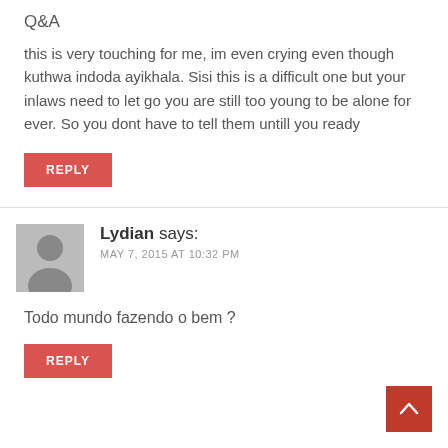Q&A
this is very touching for me, im even crying even though kuthwa indoda ayikhala. Sisi this is a difficult one but your inlaws need to let go you are still too young to be alone for ever. So you dont have to tell them untill you ready
REPLY
Lydian says:
MAY 7, 2015 AT 10:32 PM
Todo mundo fazendo o bem ?
REPLY